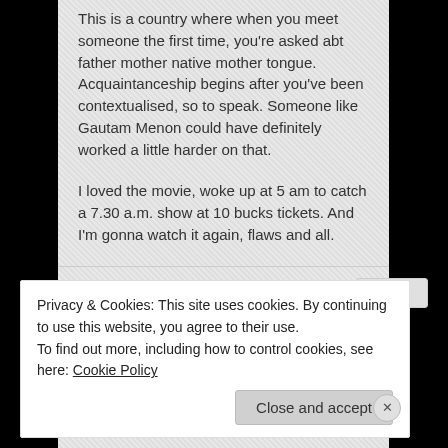This is a country where when you meet someone the first time, you're asked abt father mother native mother tongue. Acquaintanceship begins after you've been contextualised, so to speak. Someone like Gautam Menon could have definitely worked a little harder on that.
I loved the movie, woke up at 5 am to catch a 7.30 a.m. show at 10 bucks tickets. And I'm gonna watch it again, flaws and all.
Suderman
August 28, 2006
cinefan:
yeah, we dont always get tickets. and we always find it strange to ask for tickets cuz we see it as
Privacy & Cookies: This site uses cookies. By continuing to use this website, you agree to their use.
To find out more, including how to control cookies, see here: Cookie Policy